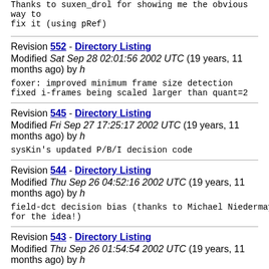Thanks to suxen_drol for showing me the obvious way to fix it (using pRef)
Revision 552 - Directory Listing
Modified Sat Sep 28 02:01:56 2002 UTC (19 years, 11 months ago) by h
foxer: improved minimum frame size detection
fixed i-frames being scaled larger than quant=2
Revision 545 - Directory Listing
Modified Fri Sep 27 17:25:17 2002 UTC (19 years, 11 months ago) by h
sysKin's updated P/B/I decision code
Revision 544 - Directory Listing
Modified Thu Sep 26 04:52:16 2002 UTC (19 years, 11 months ago) by h
field-dct decision bias (thanks to Michael Niedermayer for the idea!)
Revision 543 - Directory Listing
Modified Thu Sep 26 01:54:54 2002 UTC (19 years, 11 months ago) by h